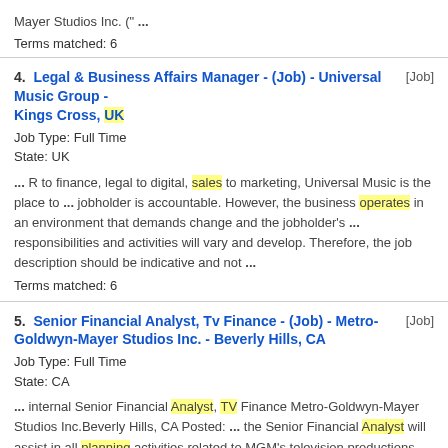Mayer Studios Inc. (" ...
Terms matched: 6
4. Legal & Business Affairs Manager - (Job) - Universal Music Group - Kings Cross, UK [Job]
Job Type: Full Time
State: UK
... R to finance, legal to digital, sales to marketing, Universal Music is the place to ... jobholder is accountable. However, the business operates in an environment that demands change and the jobholder's ... responsibilities and activities will vary and develop. Therefore, the job description should be indicative and not ...
Terms matched: 6
5. Senior Financial Analyst, Tv Finance - (Job) - Metro-Goldwyn-Mayer Studios Inc. - Beverly Hills, CA [Job]
Job Type: Full Time
State: CA
... internal Senior Financial Analyst, TV Finance Metro-Goldwyn-Mayer Studios Inc.Beverly Hills, CA Posted: ... the Senior Financial Analyst will assist in all planning activities related to MGM's television productions. Responsibilities will ... , comprising around 4,100 titles. Operating units include Metro-Goldwyn-Mayer Studios Inc., Metro-Goldwyn-Mayer Pictures ...
Terms matched: 5
6. Vice President, Media Supply Chain Transformation - (Job) - Paramount - New York, NY [Job]
Job Type: Full Time